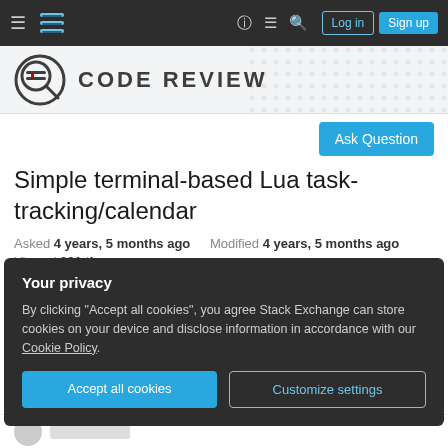Stack Exchange navigation bar with hamburger menu, logo, help, chat, search icons, Log in and Sign up buttons
[Figure (logo): Code Review Stack Exchange site header with magnifying glass icon and CODE REVIEW text]
Ask Question
Simple terminal-based Lua task-tracking/calendar
Asked 4 years, 5 months ago   Modified 4 years, 5 months ago
Viewed 301 times
Your privacy
By clicking "Accept all cookies", you agree Stack Exchange can store cookies on your device and disclose information in accordance with our Cookie Policy.
Accept all cookies
Customize settings